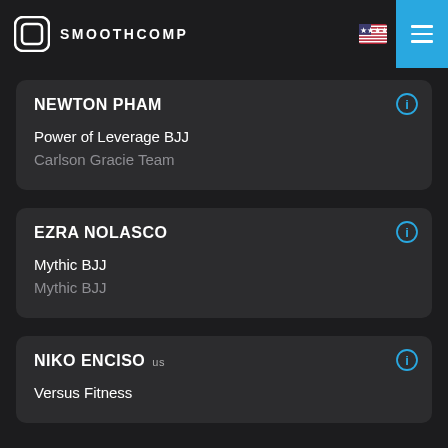SMOOTHCOMP
NEWTON PHAM — Power of Leverage BJJ / Carlson Gracie Team
EZRA NOLASCO — Mythic BJJ / Mythic BJJ
NIKO ENCISO us — Versus Fitness